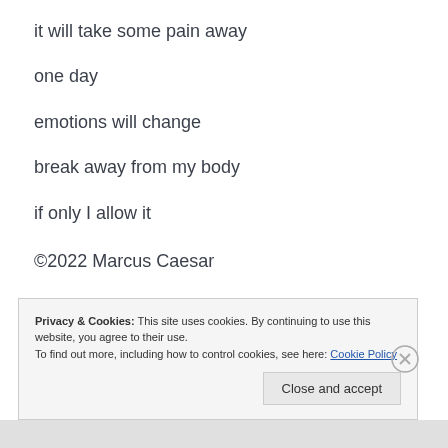it will take some pain away
one day
emotions will change
break away from my body
if only I allow it
©2022 Marcus Caesar
Privacy & Cookies: This site uses cookies. By continuing to use this website, you agree to their use.
To find out more, including how to control cookies, see here: Cookie Policy